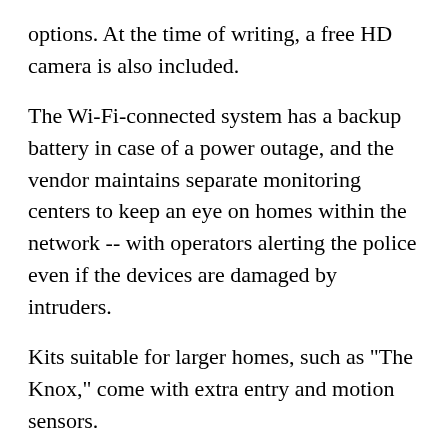options. At the time of writing, a free HD camera is also included.
The Wi-Fi-connected system has a backup battery in case of a power outage, and the vendor maintains separate monitoring centers to keep an eye on homes within the network -- with operators alerting the police even if the devices are damaged by intruders.
Kits suitable for larger homes, such as "The Knox," come with extra entry and motion sensors.
Pros:
No contract or long-term subscription required